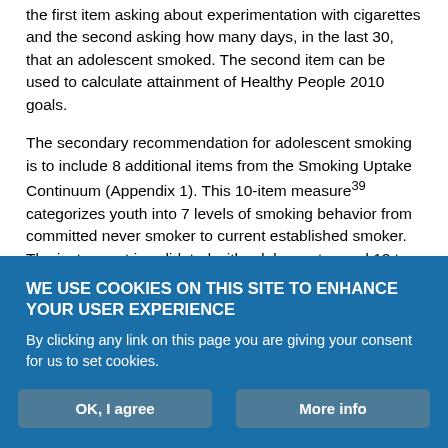the first item asking about experimentation with cigarettes and the second asking how many days, in the last 30, that an adolescent smoked. The second item can be used to calculate attainment of Healthy People 2010 goals.
The secondary recommendation for adolescent smoking is to include 8 additional items from the Smoking Uptake Continuum (Appendix 1). This 10-item measure39 categorizes youth into 7 levels of smoking behavior from committed never smoker to current established smoker. The instrument is validated with adolescents aged 12 to 18 years and has demonstrated good predictive validity (<6% committed never smokers progress to established smokers
WE USE COOKIES ON THIS SITE TO ENHANCE YOUR USER EXPERIENCE
By clicking any link on this page you are giving your consent for us to set cookies.